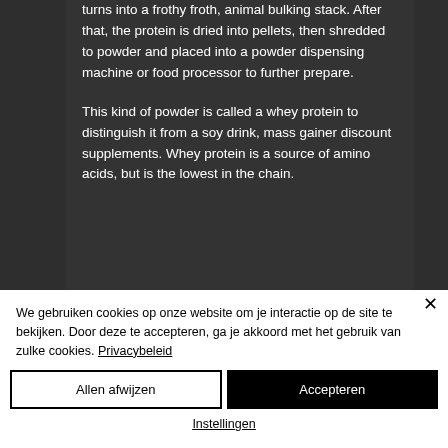turns into a frothy froth, animal bulking stack. After that, the protein is dried into pellets, then shredded to powder and placed into a powder dispensing machine or food processor to further prepare.
This kind of powder is called a whey protein to distinguish it from a soy drink, mass gainer discount supplements. Whey protein is a source of amino acids, but is the lowest in the chain.
We gebruiken cookies op onze website om je interactie op de site te bekijken. Door deze te accepteren, ga je akkoord met het gebruik van zulke cookies. Privacybeleid
Allen afwijzen
Accepteren
Instellingen